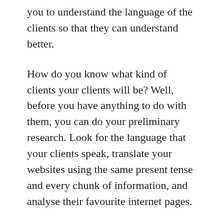you to understand the language of the clients so that they can understand better.
How do you know what kind of clients your clients will be? Well, before you have anything to do with them, you can do your preliminary research. Look for the language that your clients speak, translate your websites using the same present tense and every chunk of information, and analyse their favourite internet pages.
Sometimes companies offer the same services to the translators who will be working for them and there will be a big difference in results. That is usually not because of how the